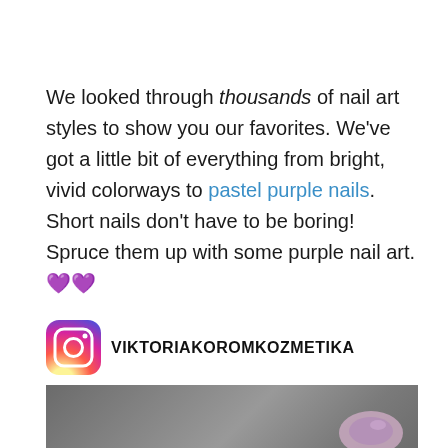We looked through thousands of nail art styles to show you our favorites. We've got a little bit of everything from bright, vivid colorways to pastel purple nails. Short nails don't have to be boring! Spruce them up with some purple nail art. 💜💜
VIKTORIAKOROMKOZMETIKA
[Figure (photo): Dark grey/charcoal background photo with a fingernail showing purple nail art visible in the top-right corner]